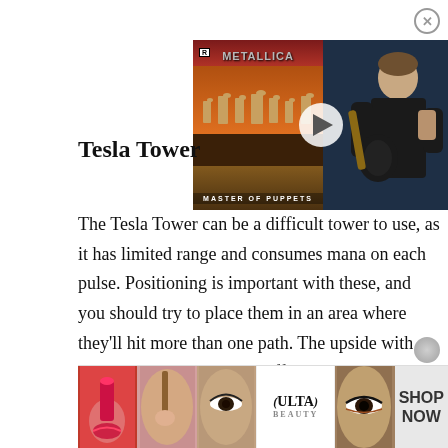[Figure (screenshot): Video thumbnail showing Metallica Master of Puppets album cover on left and a guitarist on right, with a play button overlay and close button]
Tesla Tower
The Tesla Tower can be a difficult tower to use, as it has limited range and consumes mana on each pulse. Positioning is important with these, and you should try to place them in an area where they'll hit more than one path. The upside with these is that they are very effective against shields. On the flip side, they are decent against hea
[Figure (photo): ULTA beauty advertisement banner showing makeup and beauty product imagery with SHOP NOW text]